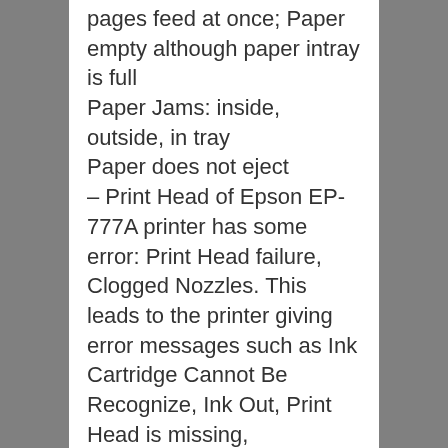pages feed at once; Paper empty although paper intray is full
Paper Jams: inside, outside, in tray
Paper does not eject
– Print Head of Epson EP-777A printer has some error: Print Head failure, Clogged Nozzles. This leads to the printer giving error messages such as Ink Cartridge Cannot Be Recognize, Ink Out, Print Head is missing, Unrecognized Cartridge, Missing or Damaged
– Epson EP-777A printer fatal errors
Epson EP-777A printer may experience such errors but without the Driver printer compatible with Epson EP-777A, the printer can not report these errors visually to the user through